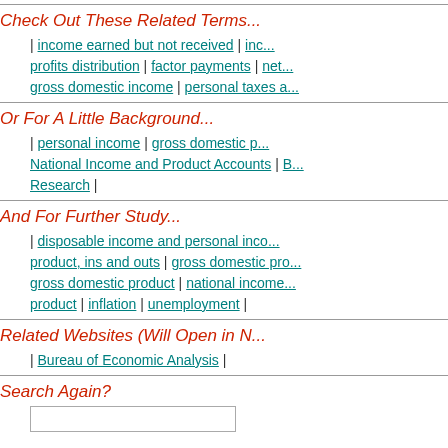Check Out These Related Terms...
| income earned but not received | inc... profits distribution | factor payments | net... gross domestic income | personal taxes a...
Or For A Little Background...
| personal income | gross domestic p... National Income and Product Accounts | B... Research |
And For Further Study...
| disposable income and personal inco... product, ins and outs | gross domestic pro... gross domestic product | national income... product | inflation | unemployment |
Related Websites (Will Open in N...
| Bureau of Economic Analysis |
Search Again?